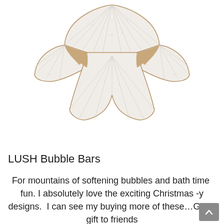[Figure (photo): A white angel or snowflake-shaped LUSH bubble bar with ribbed/ridged texture and golden/brown edges, photographed on a white background]
LUSH Bubble Bars
For mountains of softening bubbles and bath time  fun. I absolutely love the exciting Christmas -y designs.  I can see my buying more of these…Great gift to friends